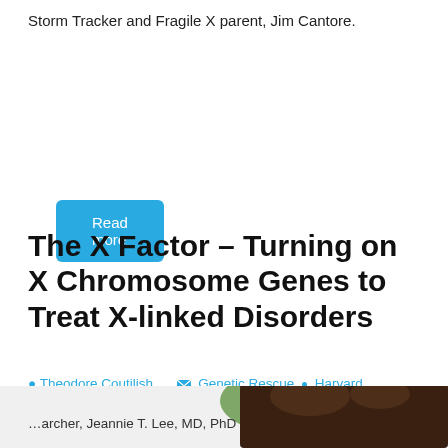Storm Tracker and Fragile X parent, Jim Cantore.
Read more
The X Factor – Turning on X Chromosome Genes to Treat X-linked Disorders
Theodore Coutilish   Genetic Rescue • Harvard University • Lee, Jeannie • Research Updates
May 9, 2016   epigenetics, NIH, Rett syndrome
[Figure (photo): Partial photo of a person with dark hair against a green background, likely researcher Jeannie T. Lee, MD, PhD]